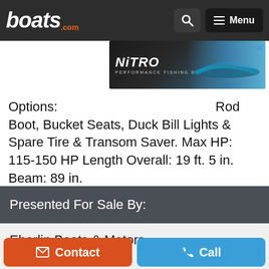boats.com
[Figure (other): NiTRO Performance Fishing Boats advertisement banner with logo and boat image]
and bait wells. Options: Rod Boot, Bucket Seats, Duck Bill Lights & Spare Tire & Transom Saver. Max HP: 115-150 HP Length Overall: 19 ft. 5 in. Beam: 89 in.
Presented For Sale By:
Eberlin Boats & Motors
2310 HIGHWAY 100
Hermann, MO, 65041